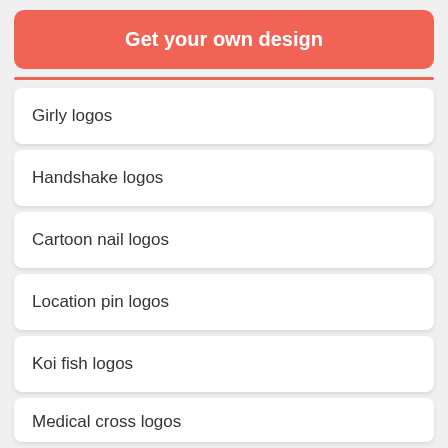Get your own design
Girly logos
Handshake logos
Cartoon nail logos
Location pin logos
Koi fish logos
Medical cross logos